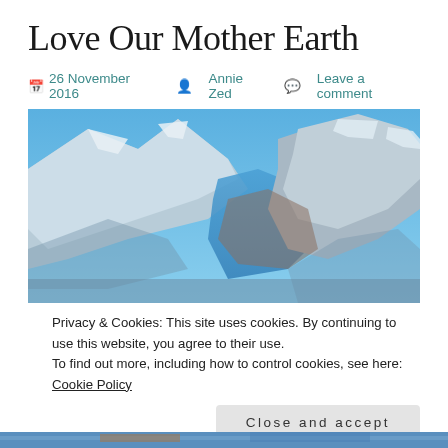Love Our Mother Earth
📅 26 November 2016  👤 Annie Zed  💬 Leave a comment
[Figure (photo): Aerial photograph of snow-capped mountains and a blue river/lake valley seen from above, likely from a satellite or high-altitude aircraft. The image shows rugged terrain with glaciers and blue water.]
Privacy & Cookies: This site uses cookies. By continuing to use this website, you agree to their use.
To find out more, including how to control cookies, see here: Cookie Policy
Close and accept